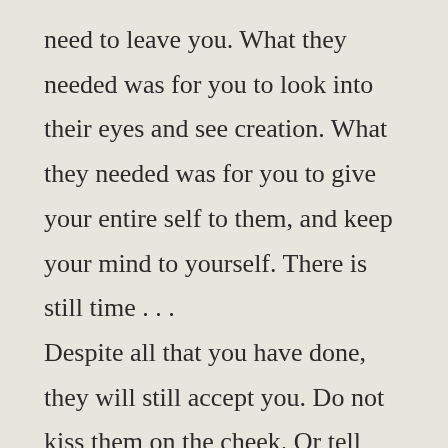need to leave you. What they needed was for you to look into their eyes and see creation. What they needed was for you to give your entire self to them, and keep your mind to yourself. There is still time . . . Despite all that you have done, they will still accept you. Do not kiss them on the cheek. Or tell them your lies about loving them. Or fill them with your high-minded advice. Lose yourself in their eyes. And fall completely in love with who they are. Allow them the privilege of feeling that